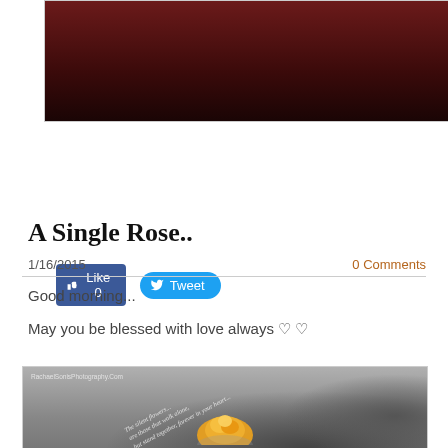[Figure (photo): Dark red/maroon blurred photo at top of page]
[Figure (screenshot): Facebook Like button (0 likes) and Twitter Tweet button]
0 Comments
A Single Rose..
1/16/2015
0 Comments
Good morning...
May you be blessed with love always ♡♡
[Figure (photo): Black and white photo of flowers with a single yellow/orange rose in color, with a curved text overlay reading 'The silent flowers... are those that walk alone... but stand together, forever in your heart...' Watermark: RachaelSonisPhotography.Com]